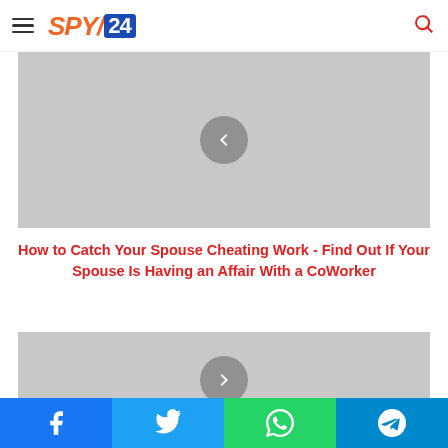SPY24 — navigation header with hamburger menu and search icon
[Figure (screenshot): Gray placeholder image with a left-arrow navigation button (previous article)]
How to Catch Your Spouse Cheating Work - Find Out If Your Spouse Is Having an Affair With a CoWorker
[Figure (screenshot): Gray placeholder image with a right-arrow navigation button (next article)]
Social sharing bar: Facebook, Twitter, WhatsApp, Telegram